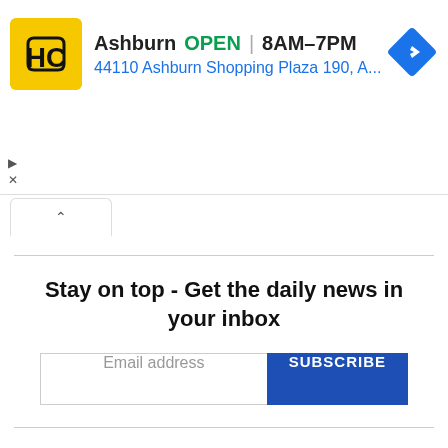[Figure (screenshot): Advertisement banner for HC (Hardee's/similar) showing location in Ashburn, OPEN 8AM-7PM, address 44110 Ashburn Shopping Plaza 190, A... with blue navigation diamond icon and yellow/black HC logo]
Stay on top - Get the daily news in your inbox
Email address
SUBSCRIBE
DMCA / Correction Notice